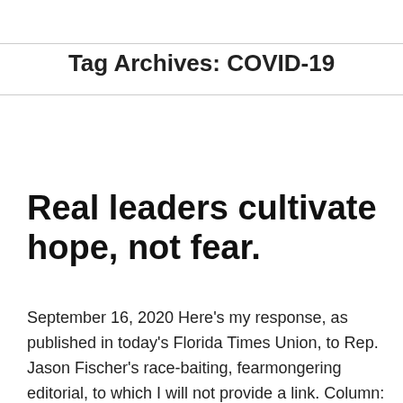Tag Archives: COVID-19
Real leaders cultivate hope, not fear.
September 16, 2020 Here’s my response, as published in today’s Florida Times Union, to Rep. Jason Fischer’s race-baiting, fearmongering editorial, to which I will not provide a link. Column: Fischer unfairly linked protesters with rioters In his Sunday guest column, Rep. Jason Fischer’s writes “Pandering to the woke will not protect